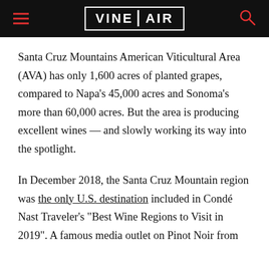VINEPAIR
Santa Cruz Mountains American Viticultural Area (AVA) has only 1,600 acres of planted grapes, compared to Napa’s 45,000 acres and Sonoma’s more than 60,000 acres. But the area is producing excellent wines — and slowly working its way into the spotlight.
In December 2018, the Santa Cruz Mountain region was the only U.S. destination included in Condé Nast Traveler’s “Best Wine Regions to Visit in 2019”. A famous media outlet on Pinot Noir from...